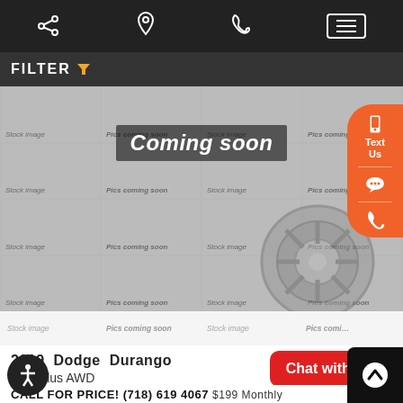[Figure (screenshot): Mobile car dealership website screenshot showing top navigation bar with share, location, phone icons and hamburger menu]
FILTER
[Figure (screenshot): Car inventory grid showing placeholder images with 'Coming soon', 'Stock image', and 'Pics coming soon' labels overlaid on a car wheel background]
Stock image  Pics coming soon  Stock image  Pics coming soon
Stock image  Pics coming soon  Stock image  Pics coming soon
Stock image  Pics coming soon  Stock image  Pics coming soon
Stock image  Pics coming soon  Stock image  Pics coming soon
Stock image  Pics coming soon  Stock image  Pics coming soon
2019  Dodge  Durango
SXT Plus AWD
160 miles
Chat with Us!
CALL FOR PRICE! (718) 619 4067  $199 Monthly